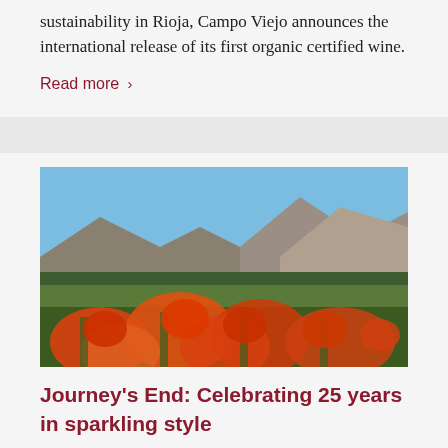sustainability in Rioja, Campo Viejo announces the international release of its first organic certified wine.
Read more ›
[Figure (photo): Outdoor landscape photo showing orange-red protea flowers in the foreground, green fields in the middle ground, and rocky mountains under a blue sky in the background.]
Journey's End: Celebrating 25 years in sparkling style